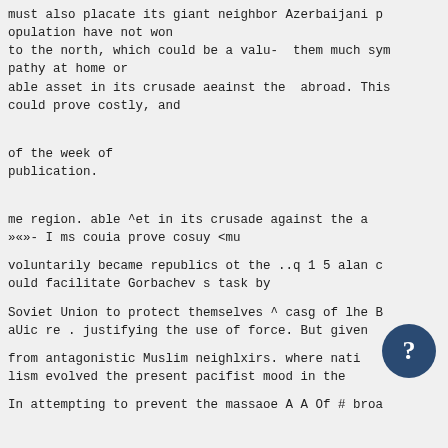must also placate its giant neighbor Azerbaijani population have not won
to the north, which could be a valu- them much sympathy at home or
able asset in its crusade aeainst the abroad. This could prove costly, and
of the week of
publication.
me region. able ^et in its crusade against the a
»«»- I ms couia prove cosuy <mu
voluntarily became republics ot the ..q 1 5 alan could facilitate Gorbachev s task by
Soviet Union to protect themselves ^ casg of lhe BaUic re . justifying the use of force. But given
from antagonistic Muslim neighlxirs. where nationalism evolved the present pacifist mood in the
In attempting to prevent the message A A Of # broa